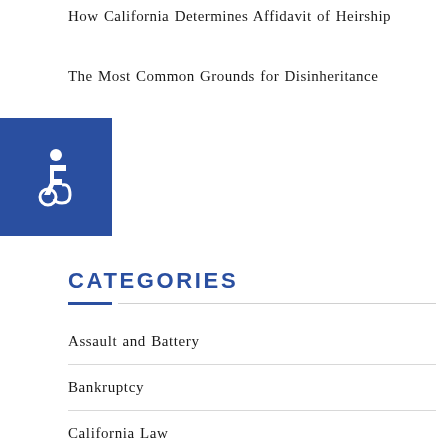How California Determines Affidavit of Heirship
The Most Common Grounds for Disinheritance
[Figure (logo): Blue square with white wheelchair accessibility icon]
CATEGORIES
Assault and Battery
Bankruptcy
California Law
Estate Planning
Firm News